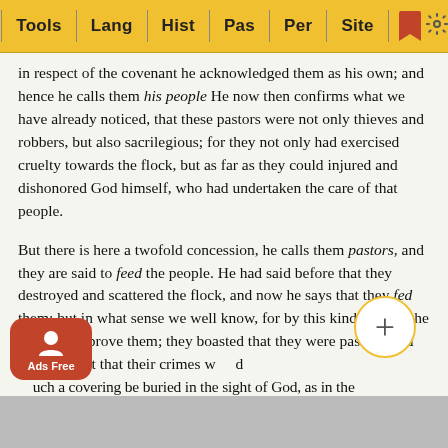Tools | Lang | Hist | Pas | Per | Site
in respect of the covenant he acknowledged them as his own; and hence he calls them his people He now then confirms what we have already noticed, that these pastors were not only thieves and robbers, but also sacrilegious; for they not only had exercised cruelty towards the flock, but as far as they could injured and dishonored God himself, who had undertaken the care of that people.
But there is here a twofold concession, he calls them pastors, and they are said to feed the people. He had said before that they destroyed and scattered the flock, and now he says that they fed them; but in what sense we well know, for by this kind of irony he meant to reprove them; they boasted that they were pastors, and they thought that their crimes would such a covering be buried in the sight of God, as in the of men. In a similar manner when we speak in the present day of the Pope and his mitred bishops and filthy clergy [obscured] ed. But A [obscured] ow